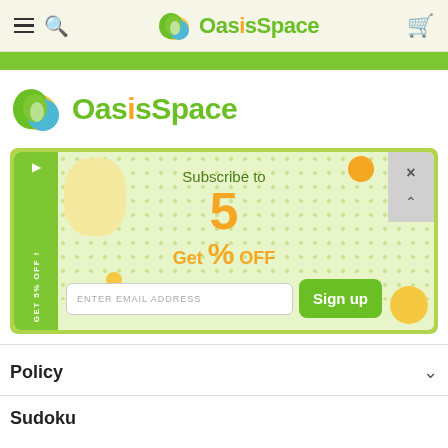OasisSpace navigation bar with hamburger menu, search, logo, and cart
[Figure (logo): OasisSpace logo with green leaf icon and green text]
[Figure (infographic): Subscribe popup: Subscribe to Get 5% OFF with email input and Sign up button]
Policy
Sudoku